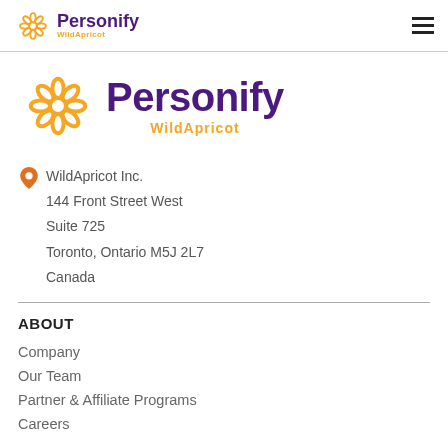Personify WildApricot (top nav logo + hamburger menu)
[Figure (logo): Personify WildApricot logo - large version with orange flower icon, purple 'Personify' text, orange 'WildApricot' subtext]
WildApricot Inc.
144 Front Street West
Suite 725
Toronto, Ontario M5J 2L7
Canada
ABOUT
Company
Our Team
Partner & Affiliate Programs
Careers